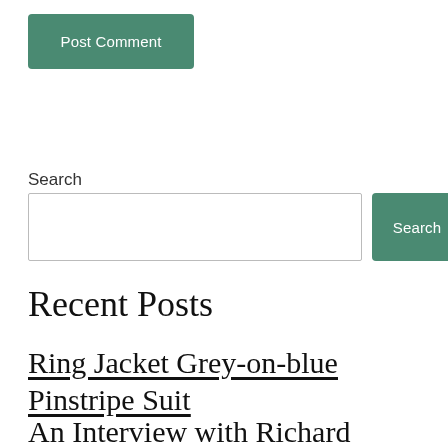Post Comment
Search
Search
Recent Posts
Ring Jacket Grey-on-blue Pinstripe Suit
An Interview with Richard